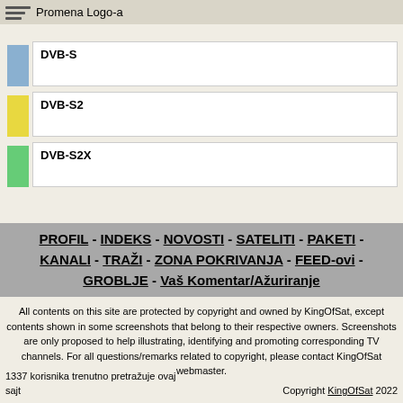Promena Logo-a
DVB-S
DVB-S2
DVB-S2X
PROFIL - INDEKS - NOVOSTI - SATELITI - PAKETI - KANALI - TRAŽI - ZONA POKRIVANJA - FEED-ovi - GROBLJE - Vaš Komentar/Ažuriranje
All contents on this site are protected by copyright and owned by KingOfSat, except contents shown in some screenshots that belong to their respective owners. Screenshots are only proposed to help illustrating, identifying and promoting corresponding TV channels. For all questions/remarks related to copyright, please contact KingOfSat webmaster.
1337 korisnika trenutno pretražuje ovaj sajt
Copyright KingOfSat 2022